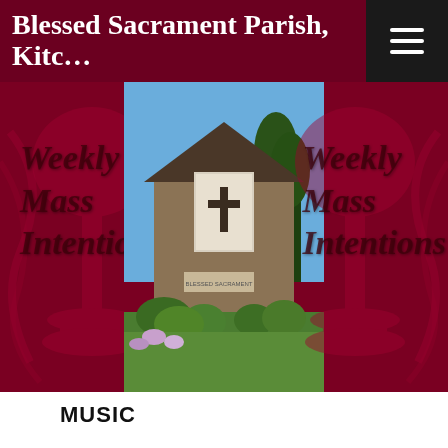Blessed Sacrament Parish, Kitc…
[Figure (photo): Banner with dark maroon background showing watermark text 'Weekly Mass Intentions' on both sides, with a center photograph of a church building (brick exterior with cross, blue sky, green trees and shrubs in foreground)]
MUSIC